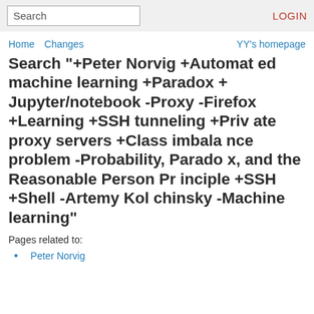Search | LOGIN
Home  Changes  YY's homepage
Search "+Peter Norvig +Automated machine learning +Paradox +Jupyter/notebook -Proxy -Firefox +Learning +SSH tunneling +Private proxy servers +Class imbalance problem -Probability, Paradox, and the Reasonable Person Principle +SSH +Shell -Artemy Kolchinsky -Machine learning"
Pages related to:
Peter Norvig